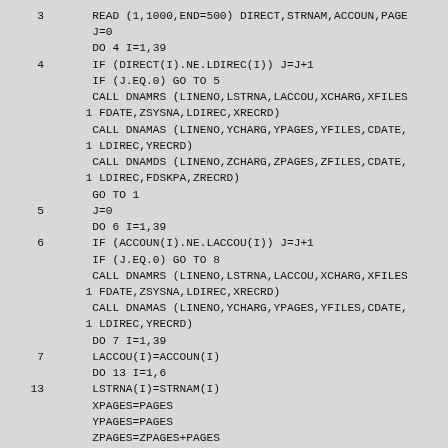Fortran source code listing with line numbers 3,4,5,6,7,13 and corresponding code statements including READ, DO loops, IF statements, CALL DNAMRS, CALL DNAMAS, CALL DNAMDS, GO TO, and assignment statements.